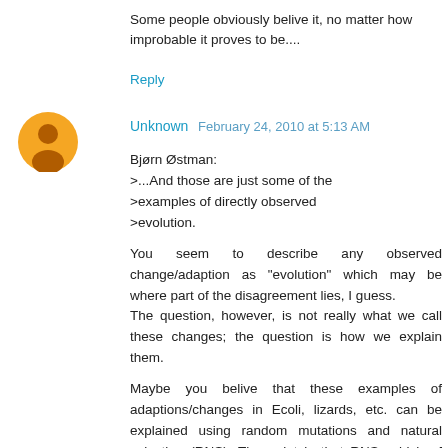Some people obviously belive it, no matter how improbable it proves to be....
Reply
Unknown  February 24, 2010 at 5:13 AM
Bjørn Østman:
>...And those are just some of the
>examples of directly observed
>evolution.

You seem to describe any observed change/adaption as "evolution" which may be where part of the disagreement lies, I guess.
The question, however, is not really what we call these changes; the question is how we explain them.

Maybe you belive that these examples of adaptions/changes in Ecoli, lizards, etc. can be explained using random mutations and natural selection (RNS). The point is that RNS, which of course is the cornerstone of